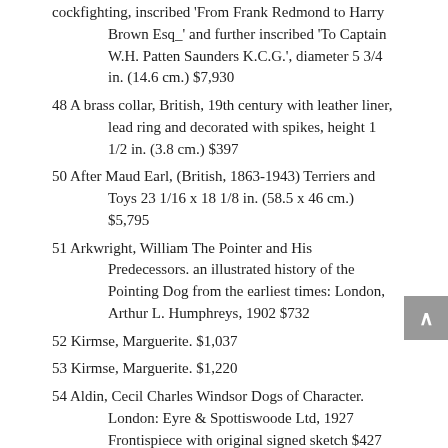cockfighting, inscribed 'From Frank Redmond to Harry Brown Esq_' and further inscribed 'To Captain W.H. Patten Saunders K.C.G.', diameter 5 3/4 in. (14.6 cm.) $7,930
48 A brass collar, British, 19th century with leather liner, lead ring and decorated with spikes, height 1 1/2 in. (3.8 cm.) $397
50 After Maud Earl, (British, 1863-1943) Terriers and Toys 23 1/16 x 18 1/8 in. (58.5 x 46 cm.) $5,795
51 Arkwright, William The Pointer and His Predecessors. an illustrated history of the Pointing Dog from the earliest times: London, Arthur L. Humphreys, 1902 $732
52 Kirmse, Marguerite. $1,037
53 Kirmse, Marguerite. $1,220
54 Aldin, Cecil Charles Windsor Dogs of Character. London: Eyre & Spottiswoode Ltd, 1927 Frontispiece with original signed sketch $427
55 Cecil Charles Windsor Aldin, RBA (British, 1870-